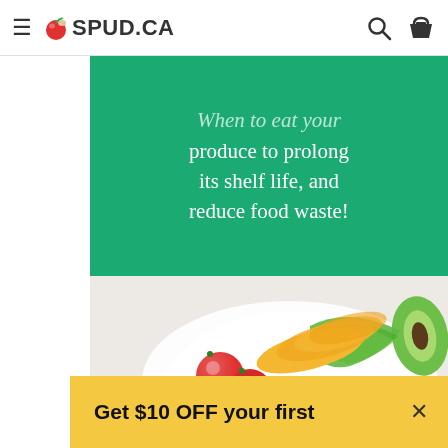SPUD.CA
[Figure (infographic): Green banner with white italic/regular text reading: When to eat your produce to prolong its shelf life, and reduce food waste!]
[Figure (photo): Bowl of fresh produce including cherry tomatoes, sliced mango, green lettuce, asparagus, radishes, and spiralized zucchini, with halved avocado on the side. Play button overlay visible in center-bottom area.]
Get $10 OFF your first